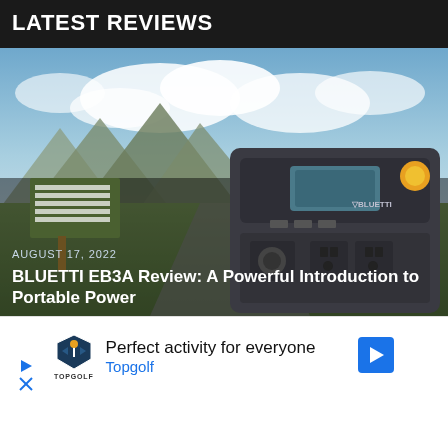LATEST REVIEWS
[Figure (photo): BLUETTI EB3A portable power station sitting on a vehicle surface outdoors with mountains and cloudy sky in background, and a park sign visible to the left.]
AUGUST 17, 2022
BLUETTI EB3A Review: A Powerful Introduction to Portable Power
[Figure (other): Advertisement for Topgolf. Shows Topgolf logo with emblem, text reading 'Perfect activity for everyone', 'Topgolf', a blue navigation arrow icon, a play button icon, and a close/X icon.]